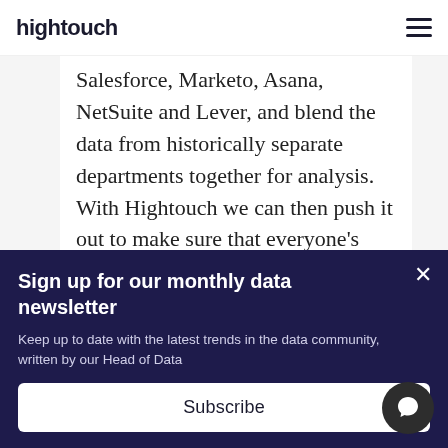hightouch
Salesforce, Marketo, Asana, NetSuite and Lever, and blend the data from historically separate departments together for analysis. With Hightouch we can then push it out to make sure that everyone's looking at
Sign up for our monthly data newsletter
Keep up to date with the latest trends in the data community, written by our Head of Data
Subscribe